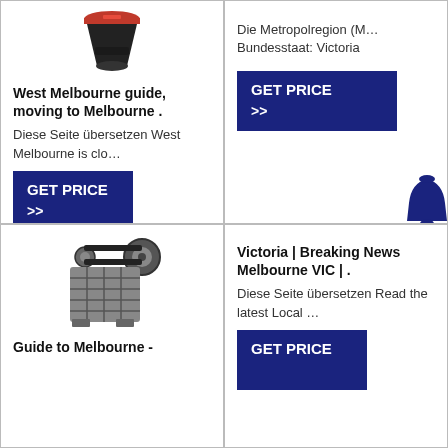[Figure (illustration): Industrial cone crusher machine image (top portion of red/black device)]
West Melbourne guide, moving to Melbourne .
Diese Seite übersetzen West Melbourne is clo…
GET PRICE >>
Die Metropolregion (M… Bundesstaat: Victoria
GET PRICE >>
[Figure (illustration): Jaw crusher machine illustration (gray/black industrial equipment)]
Guide to Melbourne -
Victoria | Breaking News Melbourne VIC | .
Diese Seite übersetzen Read the latest Local …
GET PRICE >>
[Figure (illustration): Bell/notification icon (dark navy blue)]